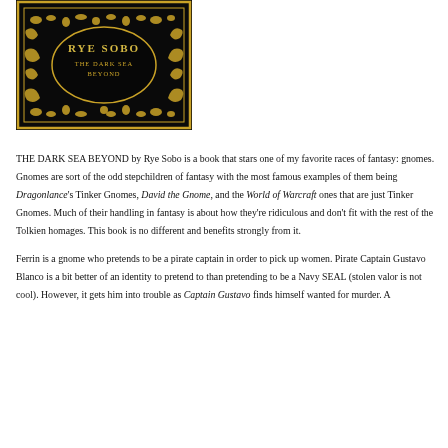[Figure (illustration): Book cover of 'The Dark Sea Beyond' by Rye Sobo — black background with gold ornamental border and title text]
THE DARK SEA BEYOND by Rye Sobo is a book that stars one of my favorite races of fantasy: gnomes. Gnomes are sort of the odd stepchildren of fantasy with the most famous examples of them being Dragonlance's Tinker Gnomes, David the Gnome, and the World of Warcraft ones that are just Tinker Gnomes. Much of their handling in fantasy is about how they're ridiculous and don't fit with the rest of the Tolkien homages. This book is no different and benefits strongly from it.

Ferrin is a gnome who pretends to be a pirate captain in order to pick up women. Pirate Captain Gustavo Blanco is a bit better of an identity to pretend to than pretending to be a Navy SEAL (stolen valor is not cool). However, it gets him into trouble as Captain Gustavo finds himself wanted for murder. A